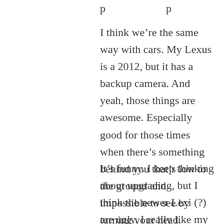I think we're the same way with cars. My Lexus is a 2012, but it has a backup camera. And yeah, those things are awesome. Especially good for those times when there's something behind you that's low to the ground and impossible to see by turning your head.
It's funny. I keep thinking about upgrading, but I think the newer Lexi (?) are ugly. I really like my car and I'll probably drive it until it dies. Unfortunately, I'm not the